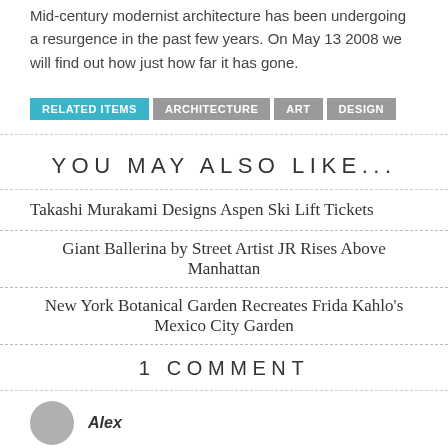Mid-century modernist architecture has been undergoing a resurgence in the past few years. On May 13 2008 we will find out how just how far it has gone.
RELATED ITEMS
ARCHITECTURE
ART
DESIGN
YOU MAY ALSO LIKE...
Takashi Murakami Designs Aspen Ski Lift Tickets
Giant Ballerina by Street Artist JR Rises Above Manhattan
New York Botanical Garden Recreates Frida Kahlo's Mexico City Garden
1 COMMENT
Alex